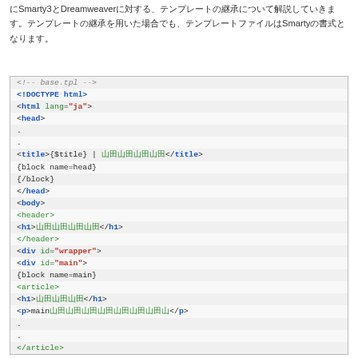にSmarty3とDreamweaverに対する、テンプレートの継承について解説していきます。テンプレートの継承を用いた場合でも、テンプレートファイルはSmartyの書式となります。
[Figure (screenshot): Code block showing base.tpl HTML template with Smarty3 block tags, including DOCTYPE, html lang, head, title, body, header, h1, div id=wrapper, div id=main, block name=main, article, h1, p, and /article tags with Japanese placeholder text.]